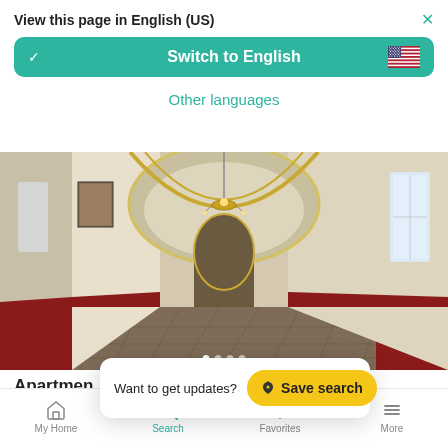View this page in English (US)
Switch to English
Other languages
[Figure (photo): Interior corridor of an elegant building with arched ceiling, chandelier, checkered tile floor, red and white walls, and yellow molding trim]
Apartmen... Turin, It...
Turin, Via Santa Chiara, Torino
Want to get updates? Save search
My Home   Search   Favorites   More